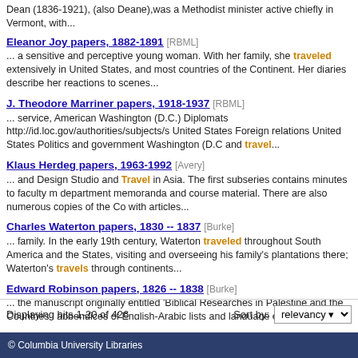Dean (1836-1921), (also Deane),was a Methodist minister active chiefly in Vermont, with...
Eleanor Joy papers, 1882-1891 [RBML] ... a sensitive and perceptive young woman. With her family, she traveled extensively in United States, and most countries of the Continent. Her diaries describe her reactions to scenes...
J. Theodore Marriner papers, 1918-1937 [RBML] ... service, American Washington (D.C.) Diplomats http://id.loc.gov/authorities/subjects/s United States Foreign relations United States Politics and government Washington (D.C and travel...
Klaus Herdeg papers, 1963-1992 [Avery] ... and Design Studio and Travel in Asia. The first subseries contains minutes to faculty m department memoranda and course material. There are also numerous copies of the Co with articles...
Charles Waterton papers, 1830 -- 1837 [Burke] ... family. In the early 19th century, Waterton traveled throughout South America and the States, visiting and overseeing his family's plantations there; Waterton's travels through continents...
Edward Robinson papers, 1826 -- 1838 [Burke] ... the manuscript originally entitled 'Biblical Researches in Palestine and the Countries i appendices of English-Arabic lists and language exercises, travel itineraries, a guide to a pronunciation...
Displaying hits 1-20 of 426   Sort by: relevancy
© Columbia University Libraries